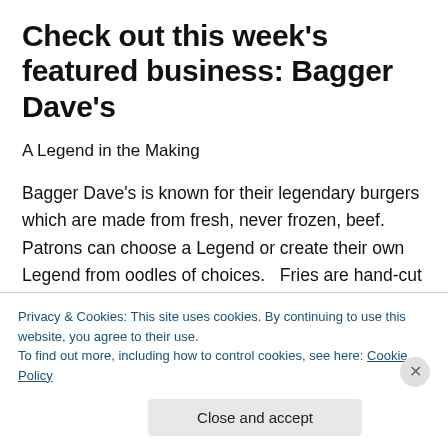Check out this week's featured business: Bagger Dave's
A Legend in the Making
Bagger Dave's is known for their legendary burgers which are made from fresh, never frozen, beef.  Patrons can choose a Legend or create their own Legend from oodles of choices.   Fries are hand-cut daily and they also have Dave's Sweet Potato Chips that are very tasty.  Although Bagger Dave's is known for their legendary burgers, their
Privacy & Cookies: This site uses cookies. By continuing to use this website, you agree to their use.
To find out more, including how to control cookies, see here: Cookie Policy